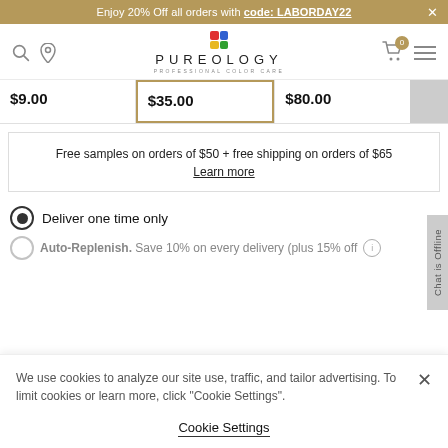Enjoy 20% Off all orders with code: LABORDAY22
[Figure (logo): Pureology Professional Color Care logo with colorful squares icon]
$9.00
$35.00
$80.00
Free samples on orders of $50 + free shipping on orders of $65
Learn more
Deliver one time only
Auto-Replenish. Save 10% on every delivery (plus 15% off
We use cookies to analyze our site use, traffic, and tailor advertising. To limit cookies or learn more, click "Cookie Settings".
Cookie Settings